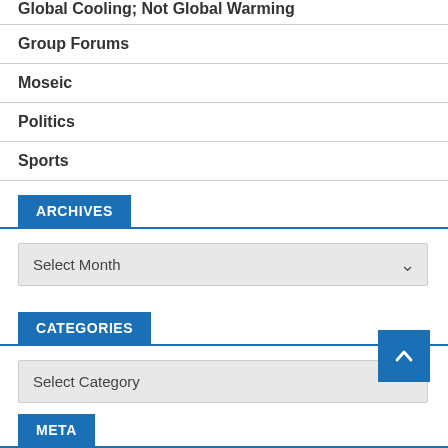Global Cooling; Not Global Warming
Group Forums
Moseic
Politics
Sports
ARCHIVES
Select Month
CATEGORIES
Select Category
META